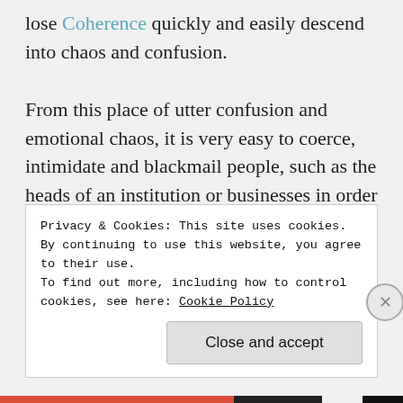lose Coherence quickly and easily descend into chaos and confusion.

From this place of utter confusion and emotional chaos, it is very easy to coerce, intimidate and blackmail people, such as the heads of an institution or businesses in order to make them compliant to the Controlleragendas, to promote toxic injections, enforce censorship and cancel culture. When most people are threatened
Privacy & Cookies: This site uses cookies. By continuing to use this website, you agree to their use.
To find out more, including how to control cookies, see here: Cookie Policy
Close and accept